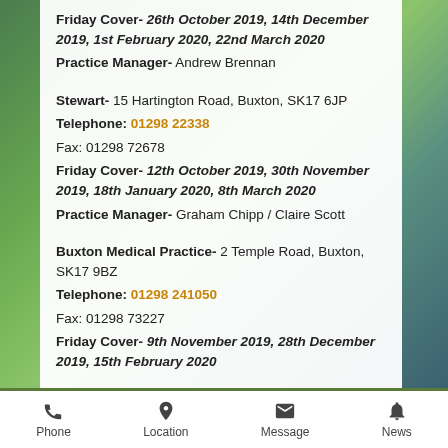Friday Cover- 26th October 2019, 14th December 2019, 1st February 2020, 22nd March 2020
Practice Manager- Andrew Brennan
Stewart- 15 Hartington Road, Buxton, SK17 6JP
Telephone: 01298 22338
Fax: 01298 72678
Friday Cover- 12th October 2019, 30th November 2019, 18th January 2020, 8th March 2020
Practice Manager- Graham Chipp / Claire Scott
Buxton Medical Practice- 2 Temple Road, Buxton, SK17 9BZ
Telephone: 01298 241050
Fax: 01298 73227
Friday Cover- 9th November 2019, 28th December 2019, 15th February 2020
Phone  Location  Message  News